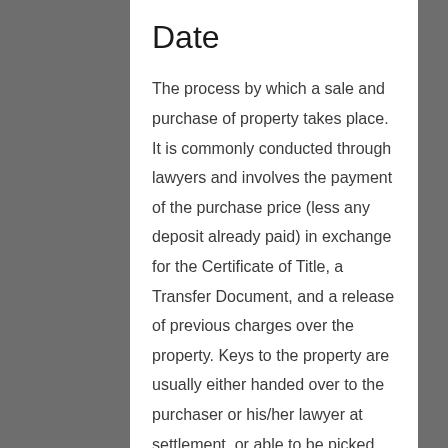Date
The process by which a sale and purchase of property takes place. It is commonly conducted through lawyers and involves the payment of the purchase price (less any deposit already paid) in exchange for the Certificate of Title, a Transfer Document, and a release of previous charges over the property. Keys to the property are usually either handed over to the purchaser or his/her lawyer at settlement, or able to be picked up from the salesperson immediately following settlement.